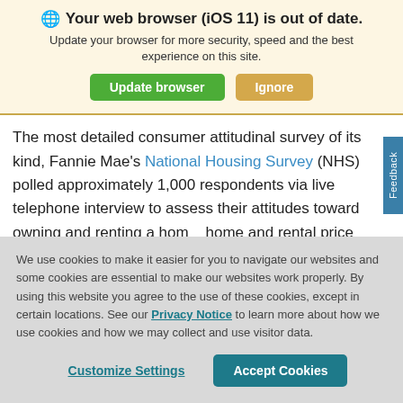Your web browser (iOS 11) is out of date.
Update your browser for more security, speed and the best experience on this site.
Update browser | Ignore
The most detailed consumer attitudinal survey of its kind, Fannie Mae's National Housing Survey (NHS) polled approximately 1,000 respondents via live telephone interview to assess their attitudes toward owning and renting a home and rental price changes, homeownership distress, t
We use cookies to make it easier for you to navigate our websites and some cookies are essential to make our websites work properly. By using this website you agree to the use of these cookies, except in certain locations. See our Privacy Notice to learn more about how we use cookies and how we may collect and use visitor data.
Customize Settings | Accept Cookies